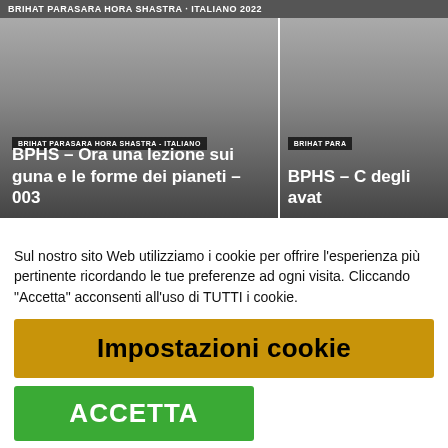BRIHAT PARASARA HORA SHASTRA · ITALIANO 2022
[Figure (screenshot): Two card thumbnails side by side. Left card: tag 'BRIHAT PARASARA HORA SHASTRA - ITALIANO', title 'BPHS – Ora una lezione sui guna e le forme dei pianeti – 003'. Right card (partially visible): tag 'BRIHAT PARA...', title 'BPHS – C... degli avat...']
Sul nostro sito Web utilizziamo i cookie per offrire l'esperienza più pertinente ricordando le tue preferenze ad ogni visita. Cliccando "Accetta" acconsenti all'uso di TUTTI i cookie.
Impostazioni cookie
ACCETTA